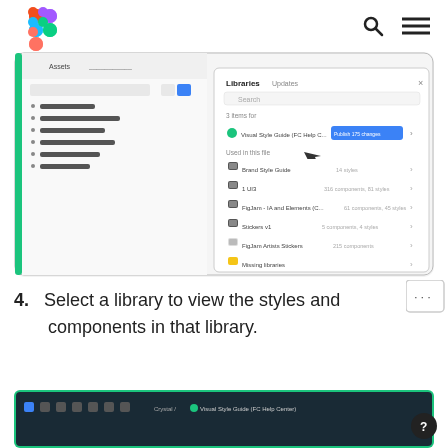Figma logo, search icon, menu icon
[Figure (screenshot): Figma desktop app showing Libraries panel with Visual Style Guide, Brand Style Guide, 1 UI3, FigJam - IA and Elements, Stickers v1, FigJam Artists Stickers, Missing libraries entries listed. A blue 'Publish 175 changes' button is visible.]
4.  Select a library to view the styles and components in that library.
[Figure (screenshot): Bottom portion of Figma editor toolbar showing tool icons and breadcrumb reading 'Crystal / Visual Style Guide (FC Help Center)']